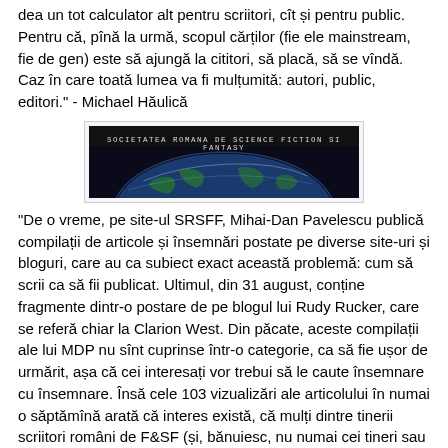dea un tot calculator alt pentru scriitori, cît și pentru public. Pentru că, pînă la urmă, scopul cărților (fie ele mainstream, fie de gen) este să ajungă la cititori, să placă, să se vîndă. Caz în care toată lumea va fi mulțumită: autori, public, editori." - Michael Hăulică
[Figure (other): Logo/banner image for Societatea Romana de Science Fiction si Fantasy, showing Earth globe from space with text overlay on dark background]
"De o vreme, pe site-ul SRSFF, Mihai-Dan Pavelescu publică compilații de articole și însemnări postate pe diverse site-uri și bloguri, care au ca subiect exact această problemă: cum să scrii ca să fii publicat. Ultimul, din 31 august, conține fragmente dintr-o postare de pe blogul lui Rudy Rucker, care se referă chiar la Clarion West. Din păcate, aceste compilații ale lui MDP nu sînt cuprinse într-o categorie, ca să fie ușor de urmărit, așa că cei interesați vor trebui să le caute însemnare cu însemnare. Însă cele 103 vizualizări ale articolului în numai o săptămînă arată că interes există, că mulți dintre tinerii scriitori români de F&SF (și, bănuiesc, nu numai cei tineri sau începători) își doresc să învețe. Și, dacă cererea există... ar cam fi cazul să